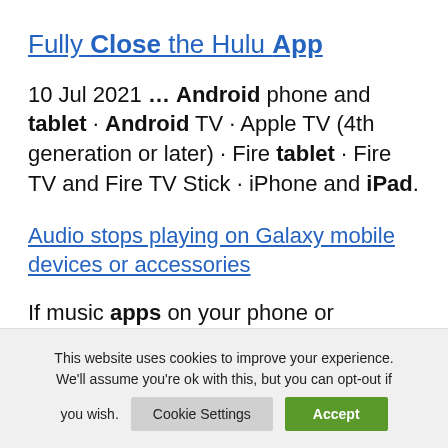Fully Close the Hulu App
10 Jul 2021 … Android phone and tablet · Android TV · Apple TV (4th generation or later) · Fire tablet · Fire TV and Fire TV Stick · iPhone and iPad.
Audio stops playing on Galaxy mobile devices or accessories
If music apps on your phone or
This website uses cookies to improve your experience. We'll assume you're ok with this, but you can opt-out if you wish. Cookie Settings Accept